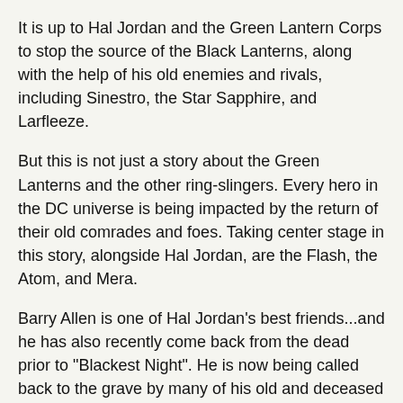It is up to Hal Jordan and the Green Lantern Corps to stop the source of the Black Lanterns, along with the help of his old enemies and rivals, including Sinestro, the Star Sapphire, and Larfleeze.
But this is not just a story about the Green Lanterns and the other ring-slingers. Every hero in the DC universe is being impacted by the return of their old comrades and foes. Taking center stage in this story, alongside Hal Jordan, are the Flash, the Atom, and Mera.
Barry Allen is one of Hal Jordan's best friends...and he has also recently come back from the dead prior to "Blackest Night". He is now being called back to the grave by many of his old and deceased teammates from the Justice League and his dead enemy, the Reverse-Flash.
Ray Palmer, The Atom, is a small hero with a big heart, full of emotions that the dead love to feed on. One of those ring-weilding zombies is Ray's ex-wife, Jean Loring, who, before she died, murdered one of Ray's friends and tormented with